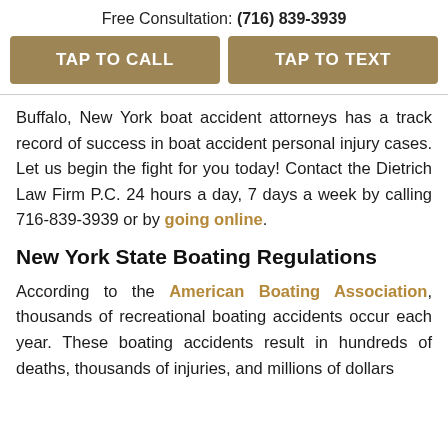Free Consultation: (716) 839-3939
TAP TO CALL
TAP TO TEXT
Buffalo, New York boat accident attorneys has a track record of success in boat accident personal injury cases. Let us begin the fight for you today! Contact the Dietrich Law Firm P.C. 24 hours a day, 7 days a week by calling 716-839-3939 or by going online.
New York State Boating Regulations
According to the American Boating Association, thousands of recreational boating accidents occur each year. These boating accidents result in hundreds of deaths, thousands of injuries, and millions of dollars